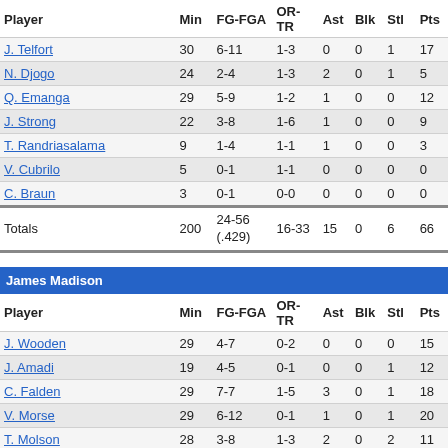| Player | Min | FG-FGA | OR-TR | Ast | Blk | Stl | Pts |
| --- | --- | --- | --- | --- | --- | --- | --- |
| J. Telfort | 30 | 6-11 | 1-3 | 0 | 0 | 1 | 17 |
| N. Djogo | 24 | 2-4 | 1-3 | 2 | 0 | 1 | 5 |
| Q. Emanga | 29 | 5-9 | 1-2 | 1 | 0 | 0 | 12 |
| J. Strong | 22 | 3-8 | 1-6 | 1 | 0 | 0 | 9 |
| T. Randriasalama | 9 | 1-4 | 1-1 | 1 | 0 | 0 | 3 |
| V. Cubrilo | 5 | 0-1 | 1-1 | 0 | 0 | 0 | 0 |
| C. Braun | 3 | 0-1 | 0-0 | 0 | 0 | 0 | 0 |
| Totals | 200 | 24-56 (.429) | 16-33 | 15 | 0 | 6 | 66 |
| James Madison |  |  |  |  |  |  |  |
| --- | --- | --- | --- | --- | --- | --- | --- |
| Player | Min | FG-FGA | OR-TR | Ast | Blk | Stl | Pts |
| J. Wooden | 29 | 4-7 | 0-2 | 0 | 0 | 0 | 15 |
| J. Amadi | 19 | 4-5 | 0-1 | 0 | 0 | 1 | 12 |
| C. Falden | 29 | 7-7 | 1-5 | 3 | 0 | 1 | 18 |
| V. Morse | 29 | 6-12 | 0-1 | 1 | 0 | 1 | 20 |
| T. Molson | 28 | 3-8 | 1-3 | 2 | 0 | 2 | 11 |